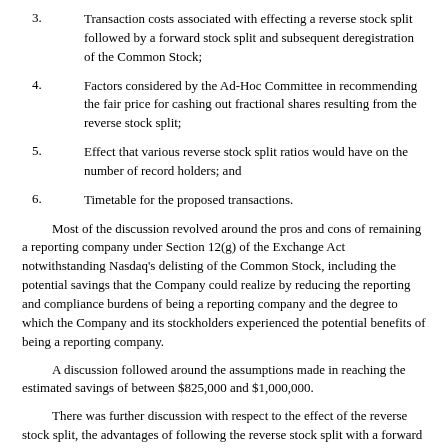3. Transaction costs associated with effecting a reverse stock split followed by a forward stock split and subsequent deregistration of the Common Stock;
4. Factors considered by the Ad-Hoc Committee in recommending the fair price for cashing out fractional shares resulting from the reverse stock split;
5. Effect that various reverse stock split ratios would have on the number of record holders; and
6. Timetable for the proposed transactions.
Most of the discussion revolved around the pros and cons of remaining a reporting company under Section 12(g) of the Exchange Act notwithstanding Nasdaq's delisting of the Common Stock, including the potential savings that the Company could realize by reducing the reporting and compliance burdens of being a reporting company and the degree to which the Company and its stockholders experienced the potential benefits of being a reporting company.
A discussion followed around the assumptions made in reaching the estimated savings of between $825,000 and $1,000,000.
There was further discussion with respect to the effect of the reverse stock split, the advantages of following the reverse stock split with a forward stock split, and the various possible outcomes of different stock split ratios and how they would affect the stockholder base. Mr. Leaf added to the discussion with another